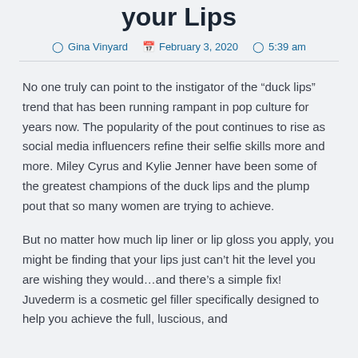your Lips
Gina Vinyard   February 3, 2020   5:39 am
No one truly can point to the instigator of the “duck lips” trend that has been running rampant in pop culture for years now. The popularity of the pout continues to rise as social media influencers refine their selfie skills more and more. Miley Cyrus and Kylie Jenner have been some of the greatest champions of the duck lips and the plump pout that so many women are trying to achieve.
But no matter how much lip liner or lip gloss you apply, you might be finding that your lips just can’t hit the level you are wishing they would…and there’s a simple fix! Juvederm is a cosmetic gel filler specifically designed to help you achieve the full, luscious, and